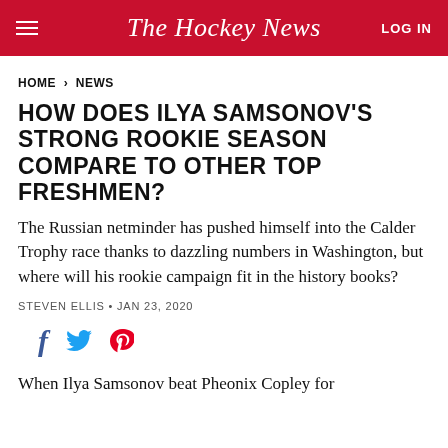The Hockey News
HOME > NEWS
HOW DOES ILYA SAMSONOV'S STRONG ROOKIE SEASON COMPARE TO OTHER TOP FRESHMEN?
The Russian netminder has pushed himself into the Calder Trophy race thanks to dazzling numbers in Washington, but where will his rookie campaign fit in the history books?
STEVEN ELLIS · JAN 23, 2020
[Figure (infographic): Social share icons: Facebook (f), Twitter (bird), Pinterest (p)]
When Ilya Samsonov beat Pheonix Copley for